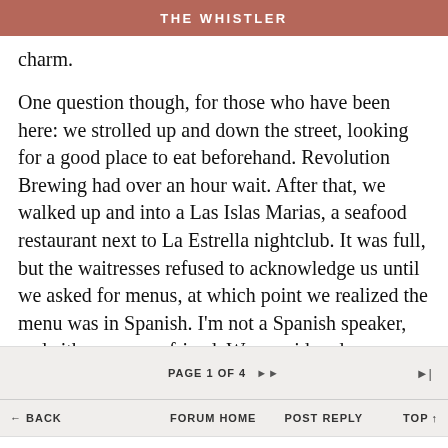THE WHISTLER
charm.
One question though, for those who have been here: we strolled up and down the street, looking for a good place to eat beforehand. Revolution Brewing had over an hour wait. After that, we walked up and into a Las Islas Marias, a seafood restaurant next to La Estrella nightclub. It was full, but the waitresses refused to acknowledge us until we asked for menus, at which point we realized the menu was in Spanish. I'm not a Spanish speaker, and either was my friend. We considered attempting to go forward and order
PAGE 1 OF 4
← BACK   FORUM HOME   POST REPLY   TOP ↑
CHAT   ARTICLES   GUIDE   EVENTS   MORE